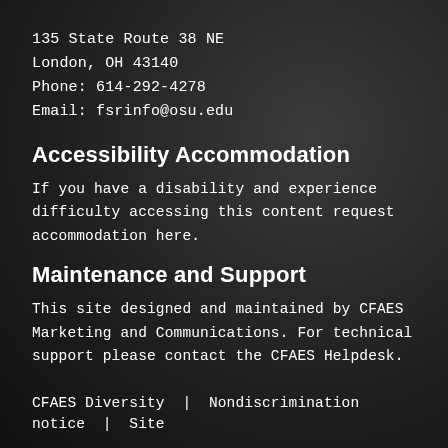135 State Route 38 NE
London, OH 43140
Phone: 614-292-4278
Email: fsrinfo@osu.edu
Accessibility Accommodation
If you have a disability and experience difficulty accessing this content request accommodation here.
Maintenance and Support
This site designed and maintained by CFAES Marketing and Communications. For technical support please contact the CFAES Helpdesk.
CFAES Diversity  |  Nondiscrimination notice  |  Site